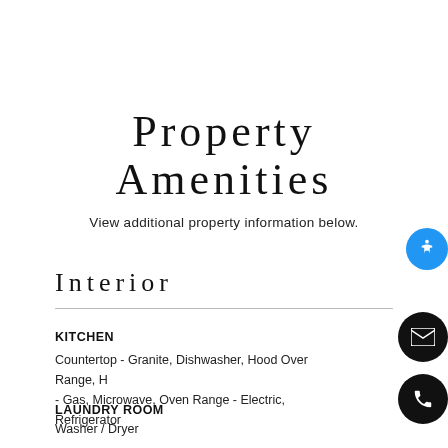Property Amenities
View additional property information below.
Interior
KITCHEN
Countertop - Granite, Dishwasher, Hood Over Range, H- Gas, Microwave, Oven Range - Electric, Refrigerator
LAUNDRY ROOM
Washer / Dryer